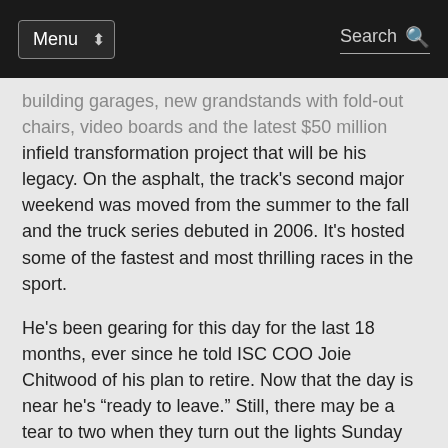Menu | Search
building garages, new grandstands with fold-out chairs, video boards and the latest $50 million infield transformation project that will be his legacy. On the asphalt, the track's second major weekend was moved from the summer to the fall and the truck series debuted in 2006. It's hosted some of the fastest and most thrilling races in the sport.
He's been gearing for this day for the last 18 months, ever since he told ISC COO Joie Chitwood of his plan to retire. Now that the day is near he's “ready to leave.” Still, there may be a tear to two when they turn out the lights Sunday night.
“I know what’s coming,” he said. And he knows what he’s going to miss.